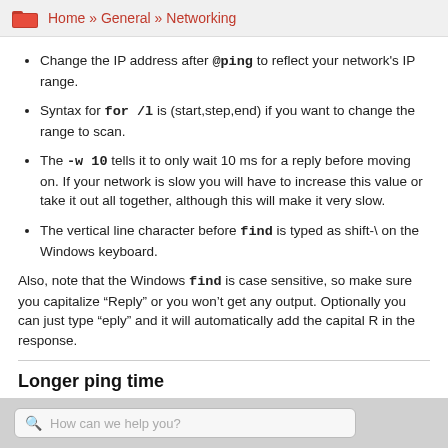Home » General » Networking
Change the IP address after @ping to reflect your network's IP range.
Syntax for for /l is (start,step,end) if you want to change the range to scan.
The -w 10 tells it to only wait 10 ms for a reply before moving on. If your network is slow you will have to increase this value or take it out all together, although this will make it very slow.
The vertical line character before find is typed as shift-\ on the Windows keyboard.
Also, note that the Windows find is case sensitive, so make sure you capitalize "Reply" or you won't get any output. Optionally you can just type "eply" and it will automatically add the capital R in the response.
Longer ping time